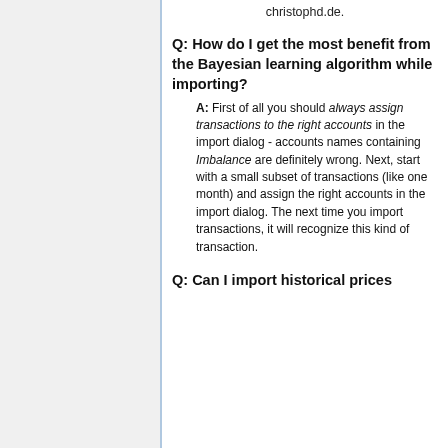christophd.de.
Q: How do I get the most benefit from the Bayesian learning algorithm while importing?
A: First of all you should always assign transactions to the right accounts in the import dialog - accounts names containing Imbalance are definitely wrong. Next, start with a small subset of transactions (like one month) and assign the right accounts in the import dialog. The next time you import transactions, it will recognize this kind of transaction.
Q: Can I import historical prices